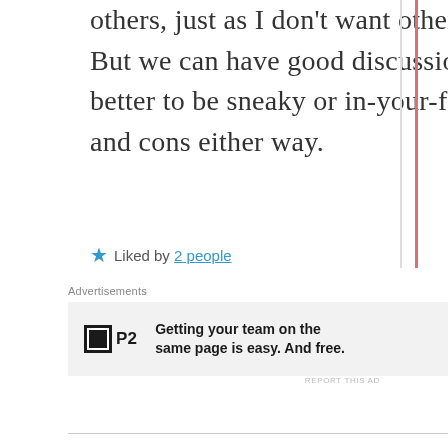others, just as I don't want others to do that to me. But we can have good discussions about it. Is it better to be sneaky or in-your-face? I can see pros and cons either way.
★ Liked by 2 people
Advertisements
[Figure (other): Advertisement banner for P2 product with logo and text: Getting your team on the same page is easy. And free.]
REPORT THIS AD